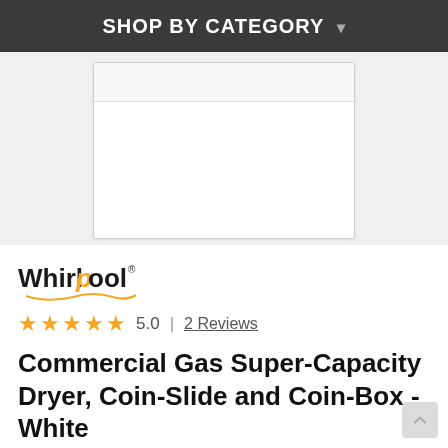SHOP BY CATEGORY ▾
[Figure (photo): Product image of a white commercial gas dryer - front panel view showing a white rectangular appliance body]
[Figure (logo): Whirlpool brand logo with trademark symbol]
★★★★★ 5.0 | 2 Reviews
Commercial Gas Super-Capacity Dryer, Coin-Slide and Coin-Box - White
Whirlpool CGM2745FQ